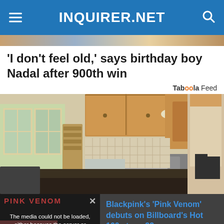INQUIRER.NET
[Figure (photo): Partial image strip at top of page, colorful banner]
'I don't feel old,' says birthday boy Nadal after 900th win
Taboola Feed
[Figure (photo): Kitchen interior photo showing wooden cabinetry, granite countertops, stainless steel appliances, pendant lighting, and a sunny window]
PINK VENOM
The media could not be loaded, either because the server or network failed or because the format is not supported.
Blackpink's 'Pink Venom' debuts on Billboard's Hot 100 at no. 22
X